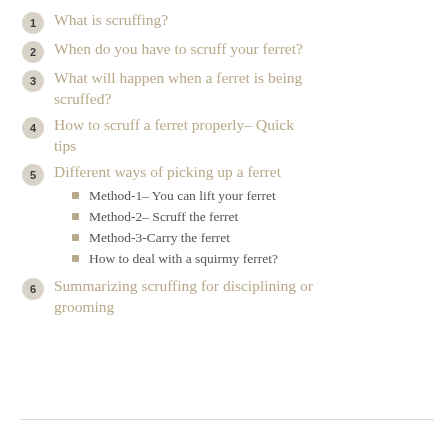1 What is scruffing?
2 When do you have to scruff your ferret?
3 What will happen when a ferret is being scruffed?
4 How to scruff a ferret properly- Quick tips
5 Different ways of picking up a ferret
Method-1- You can lift your ferret
Method-2– Scruff the ferret
Method-3-Carry the ferret
How to deal with a squirmy ferret?
6 Summarizing scruffing for disciplining or grooming